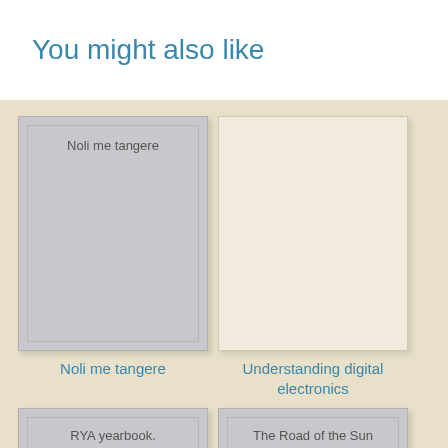You might also like
[Figure (illustration): Book cover thumbnail for 'Noli me tangere' - gray cover with inner border and title text]
Noli me tangere
[Figure (illustration): Book cover thumbnail for 'Understanding digital electronics' - plain cream/beige cover]
Understanding digital electronics
[Figure (illustration): Book cover thumbnail for 'RYA yearbook.' - gray cover with inner border and title text, partially visible]
[Figure (illustration): Book cover thumbnail for 'The Road of the Sun' - gray cover with title text, partially visible]